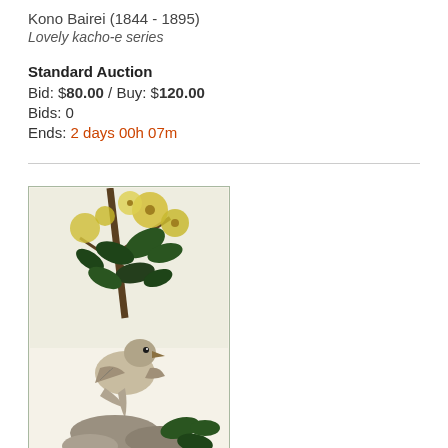Kono Bairei (1844 - 1895)
Lovely kacho-e series
Standard Auction
Bid: $80.00 / Buy: $120.00
Bids: 0
Ends: 2 days 00h 07m
[Figure (illustration): Japanese woodblock print showing hibiscus flowers with yellow blooms and dark leaves above a hawk bird perched among rocks and foliage]
Hibiscus and Hawk
Kono Bairei (1844 - 1895)
Lovely kacho-e series
Standard Auction